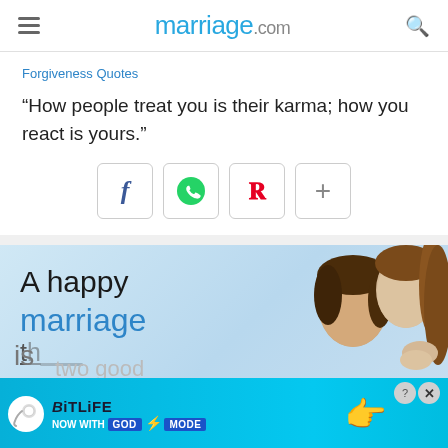marriage.com
Forgiveness Quotes
“How people treat you is their karma; how you react is yours.”
[Figure (screenshot): Social share buttons: Facebook (f), WhatsApp (phone handset with green icon), Pinterest (P), and a plus (+) button]
[Figure (photo): Advertisement image for marriage.com showing text 'A happy marriage is two good' with a couple looking at each other, overlaid with a BitLife ad banner reading 'NOW WITH GOD MODE']